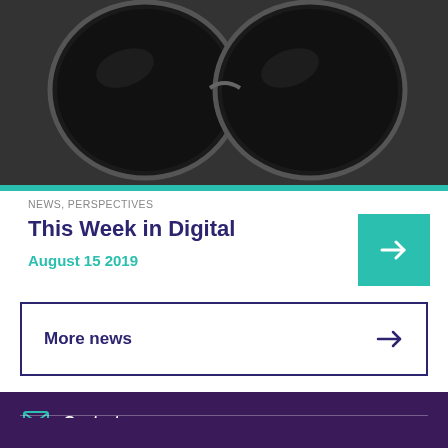[Figure (photo): Close-up photo of dark sunglasses with round lenses on a dark background]
NEWS, PERSPECTIVES
This Week in Digital
August 15 2019
More news
Contact us
[Figure (logo): nud logo in white on purple background]